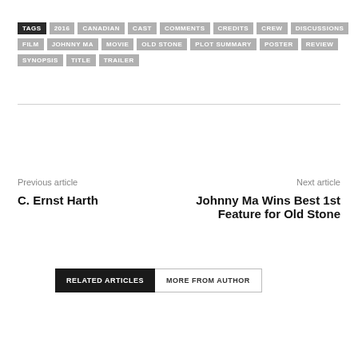TAGS  2016  CANADIAN  CAST  COMMENTS  CREDITS  CREW  DISCUSSIONS  FILM  JOHNNY MA  MOVIE  OLD STONE  PLOT SUMMARY  POSTER  REVIEW  SYNOPSIS  TITLE  TRAILER
Previous article
C. Ernst Harth
Next article
Johnny Ma Wins Best 1st Feature for Old Stone
RELATED ARTICLES    MORE FROM AUTHOR